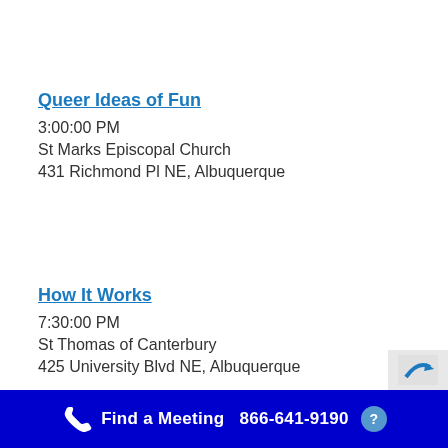Queer Ideas of Fun
3:00:00 PM
St Marks Episcopal Church
431 Richmond Pl NE, Albuquerque
How It Works
7:30:00 PM
St Thomas of Canterbury
425 University Blvd NE, Albuquerque
Find a Meeting  866-641-9190